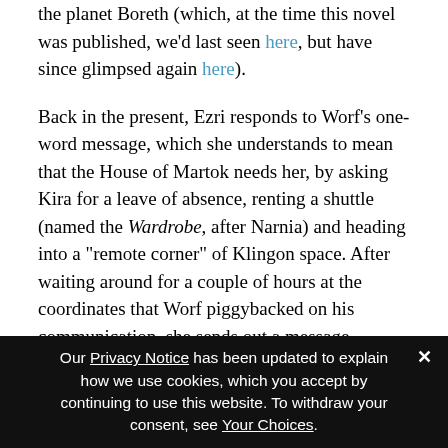the planet Boreth (which, at the time this novel was published, we'd last seen here, but have since glimpsed again here).
Back in the present, Ezri responds to Worf's one-word message, which she understands to mean that the House of Martok needs her, by asking Kira for a leave of absence, renting a shuttle (named the Wardrobe, after Narnia) and heading into a "remote corner" of Klingon space. After waiting around for a couple of hours at the coordinates that Worf piggybacked on his communication, she sends out a message addressed to him emphatically announcing her presence, and five Klingon vessels, including the Rotarran, decloak. Worf
Our Privacy Notice has been updated to explain how we use cookies, which you accept by continuing to use this website. To withdraw your consent, see Your Choices.